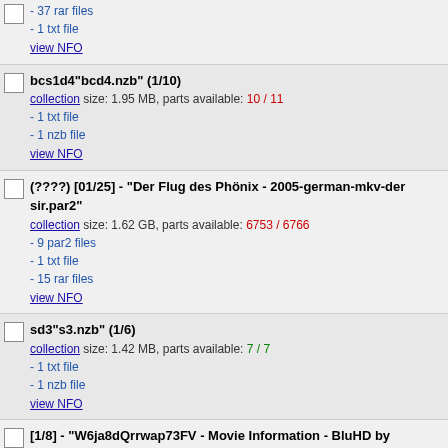- 37 rar files
- 1 txt file
view NFO
bcs1d4"bcd4.nzb" (1/10)
collection size: 1.95 MB, parts available: 10 / 11
- 1 txt file
- 1 nzb file
view NFO
(????) [01/25] - "Der Flug des Phönix - 2005-german-mkv-der sir.par2"
collection size: 1.62 GB, parts available: 6753 / 6766
- 9 par2 files
- 1 txt file
- 15 rar files
view NFO
sd3"s3.nzb" (1/6)
collection size: 1.42 MB, parts available: 7 / 7
- 1 txt file
- 1 nzb file
view NFO
[1/8] - "W6ja8dQrrwap73FV - Movie Information - BluHD by pornexe.nf
collection size: 70.35 MB, parts available: 193 / 195
- 6 par2 files
- 1 rar file
- 1 nfo file
view NFO
mld8"8.nzb" (1/7)
collection size: 1.68 MB, parts available: 8 / 8
- 1 txt file
- 1 nzb file
view NFO
dkdo"dkdo.nzb" (1/9)
collection size: 997.29 KB, parts available: 5 / 10
- 1 txt file
- 1 nzb file